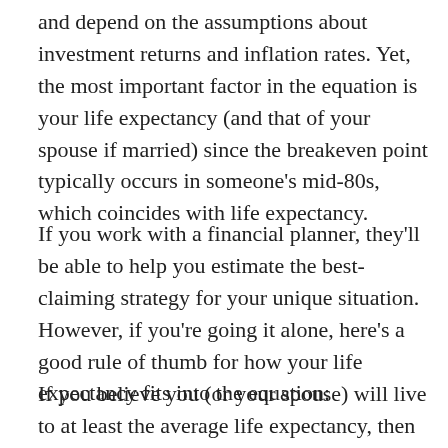and depend on the assumptions about investment returns and inflation rates. Yet, the most important factor in the equation is your life expectancy (and that of your spouse if married) since the breakeven point typically occurs in someone's mid-80s, which coincides with life expectancy.
If you work with a financial planner, they'll be able to help you estimate the best-claiming strategy for your unique situation. However, if you're going it alone, here's a good rule of thumb for how your life expectancy fits into the equation:
If you believe you (or your spouse) will live to at least the average life expectancy, then waiting for a larger monthly check might be a good deal. On the other hand, if you (and your spouse) are in poor health or have reason to believe neither will reach the average life expectancy, it